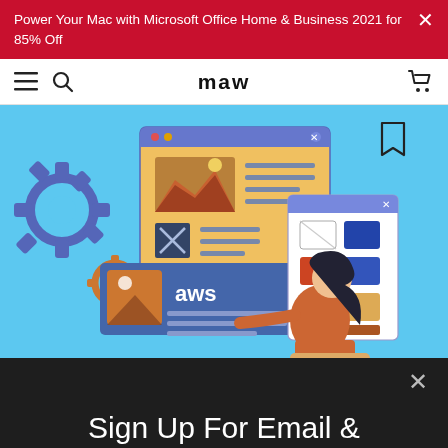Power Your Mac with Microsoft Office Home & Business 2021 for 85% Off
maw
[Figure (illustration): Illustration of a woman interacting with AWS cloud computing interface, showing browser windows, gear icons, and a color palette panel, on a light blue background]
Sign Up For Email &